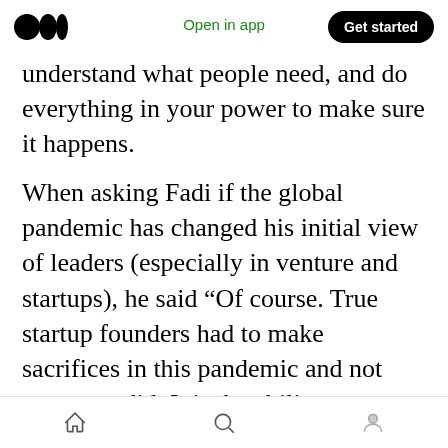Medium logo | Open in app | Get started
understand what people need, and do everything in your power to make sure it happens.
When asking Fadi if the global pandemic has changed his initial view of leaders (especially in venture and startups), he said “Of course. True startup founders had to make sacrifices in this pandemic and not everyone did. It is the ability to sacrifice to help sustain the business and it is hard to test that in normal circumstances, but comes up during any cris [55 claps] o mentors and investors to help guide and remedy situations
Home | Search | Profile